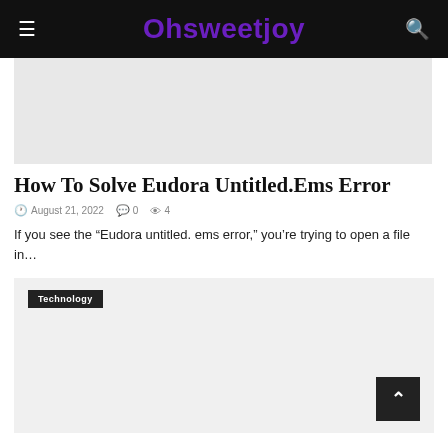Ohsweetjoy
[Figure (other): Gray placeholder image area for article thumbnail]
How To Solve Eudora Untitled.Ems Error
August 21, 2022   0   4
If you see the “Eudora untitled. ems error,” you’re trying to open a file in…
[Figure (other): Gray placeholder image area for second article card with Technology badge]